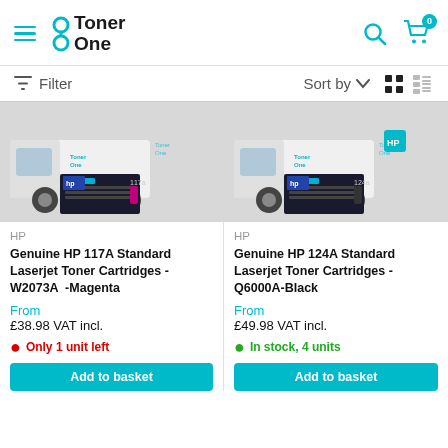Toner One — Navigation header with logo, search and cart
Filter  Sort by  [grid/list view icons]
[Figure (photo): HP 117A Standard Laserjet Toner Cartridge W2073A Magenta product photo with white delivery van and Toner One branding]
HP
Genuine HP 117A Standard Laserjet Toner Cartridges - W2073A  -Magenta
From
£38.98 VAT incl.
Only 1 unit left
[Figure (photo): HP 124A Standard Laserjet Toner Cartridge Q6000A Black product photo with white delivery van and Toner One branding]
HP
Genuine HP 124A Standard Laserjet Toner Cartridges - Q6000A-Black
From
£49.98 VAT incl.
In stock, 4 units